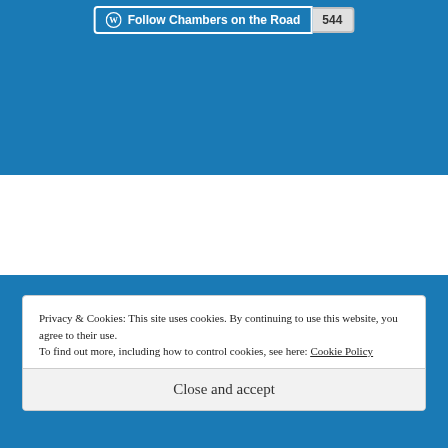[Figure (screenshot): WordPress Follow button showing 'Follow Chambers on the Road' with follower count 544]
Follow Blog via Email
Enter your email address to follow this blog and receive notifications of new posts by email.
Privacy & Cookies: This site uses cookies. By continuing to use this website, you agree to their use.
To find out more, including how to control cookies, see here: Cookie Policy
Close and accept